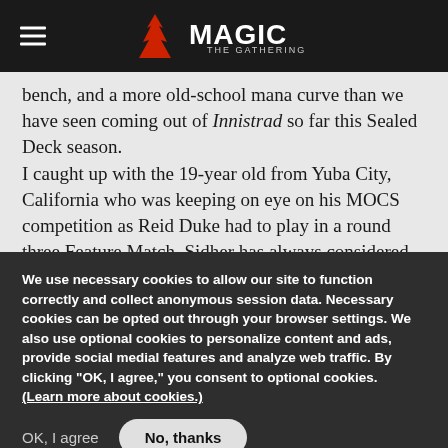Magic: The Gathering
bench, and a more old-school mana curve than we have seen coming out of Innistrad so far this Sealed Deck season.

I caught up with the 19-year old from Yuba City, California who was keeping on eye on his MOCS competition as Reid Duke had to play in a round three Feature Match. Sidher has always considered himself more of a Constructed
We use necessary cookies to allow our site to function correctly and collect anonymous session data. Necessary cookies can be opted out through your browser settings. We also use optional cookies to personalize content and ads, provide social medial features and analyze web traffic. By clicking “OK, I agree,” you consent to optional cookies. (Learn more about cookies.)
OK, I agree
No, thanks